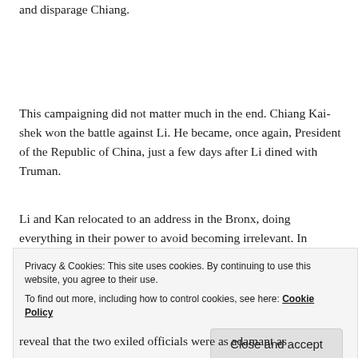and disparage Chiang.
This campaigning did not matter much in the end. Chiang Kai-shek won the battle against Li. He became, once again, President of the Republic of China, just a few days after Li dined with Truman.
Li and Kan relocated to an address in the Bronx, doing everything in their power to avoid becoming irrelevant. In particular, they kept on writing letters to diplomats.
Privacy & Cookies: This site uses cookies. By continuing to use this website, you agree to their use.
To find out more, including how to control cookies, see here: Cookie Policy
reveal that the two exiled officials were as adamant as